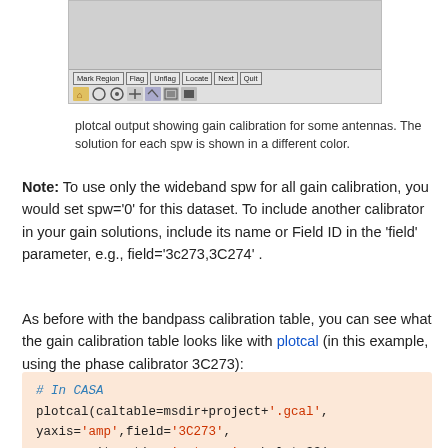[Figure (screenshot): plotcal output showing gain calibration tool screenshot with toolbar buttons (Mark Region, Flag, Unflag, Locate, Next, Quit) and navigation icons]
plotcal output showing gain calibration for some antennas. The solution for each spw is shown in a different color.
Note: To use only the wideband spw for all gain calibration, you would set spw='0' for this dataset. To include another calibrator in your gain solutions, include its name or Field ID in the 'field' parameter, e.g., field='3c273,3C274' .
As before with the bandpass calibration table, you can see what the gain calibration table looks like with plotcal (in this example, using the phase calibrator 3C273):
# In CASA
plotcal(caltable=msdir+project+'.gcal',
yaxis='amp',field='3C273',
        iteration='antenna',subplot=331,
        showgui=T)
Now that the gains have been determined, you can bootstrap the flux of 3C273 to any other calibrators, using fluxscale. This command uses the